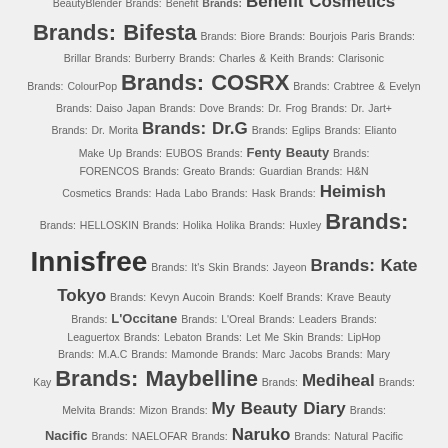Aritaum Brands: ATOPALM Brands: B-Lab Brands: b.liv Brands: Banila Co. Brands: bareMinerals Brands: Beauty Blender Brands: BeautyBlender Brands: Benefit Brands: Benefit Cosmetics Brands: Bifesta Brands: Biore Brands: Bourjois Paris Brands: Brillar Brands: Burberry Brands: Charles & Keith Brands: Clarisonic Brands: ColourPop Brands: COSRX Brands: Crabtree & Evelyn Brands: Daiso Japan Brands: Dove Brands: Dr. Frog Brands: Dr. Jart+ Brands: Dr. Morita Brands: Dr.G Brands: Eglips Brands: Elianto Make Up Brands: EUBOS Brands: Fenty Beauty Brands: FORENCOS Brands: Greato Brands: Guardian Brands: H&N Cosmetics Brands: Hada Labo Brands: Hask Brands: Heimish Brands: HELLOSKIN Brands: Holika Holika Brands: Huxley Brands: Innisfree Brands: It's Skin Brands: Jayeon Brands: Kate Tokyo Brands: Kevyn Aucoin Brands: Koelf Brands: Krave Beauty Brands: L'Occitane Brands: L'Oreal Brands: Leaders Brands: Leaguertox Brands: Lebaton Brands: Let Me Skin Brands: LipHop Brands: M.A.C Brands: Mamonde Brands: Marc Jacobs Brands: Mary Kay Brands: Maybelline Brands: Mediheal Brands: Melvita Brands: Mizon Brands: My Beauty Diary Brands: Nacific Brands: NAELOFAR Brands: Naruko Brands: Natural Pacific Brands: Nature Republic Brands: Nutrimetics Brands: Papa